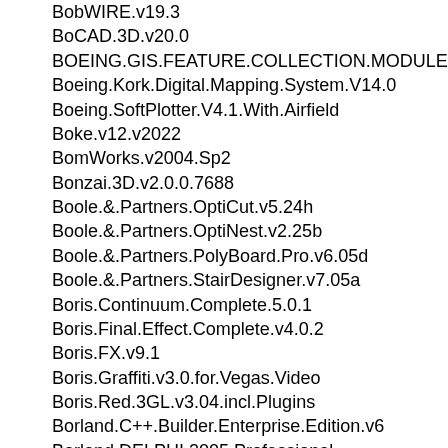BobWIRE.v19.3
BoCAD.3D.v20.0
BOEING.GIS.FEATURE.COLLECTION.MODULE.V1.2.FOR.BOEING
Boeing.Kork.Digital.Mapping.System.V14.0
Boeing.SoftPlotter.V4.1.With.Airfield
Boke.v12.v2022
BomWorks.v2004.Sp2
Bonzai.3D.v2.0.0.7688
Boole.&.Partners.OptiCut.v5.24h
Boole.&.Partners.OptiNest.v2.25b
Boole.&.Partners.PolyBoard.Pro.v6.05d
Boole.&.Partners.StairDesigner.v7.05a
Boris.Continuum.Complete.5.0.1
Boris.Final.Effect.Complete.v4.0.2
Boris.FX.v9.1
Boris.Graffiti.v3.0.for.Vegas.Video
Boris.Red.3GL.v3.04.incl.Plugins
Borland.C++.Builder.Enterprise.Edition.v6
Borland.DELPHI.2005.Professional
Borland.Enterprise.Server.v6.0
Borland.JBuilder.2005
Borland.Together.Architect.v1.1.Incl.Keymaker
Borland.Together.Designer.2005
Borland.Together.for.Eclipse.7.0...